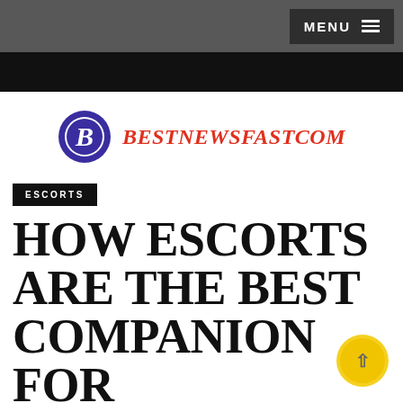MENU
[Figure (logo): BestNewsFast.com logo: purple circle with white italic B, followed by red italic bold text BESTNEWSFASTCOM]
ESCORTS
HOW ESCORTS ARE THE BEST COMPANION FOR